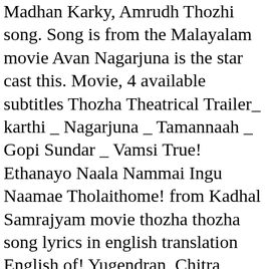Madhan Karky, Amrudh Thozhi song. Song is from the Malayalam movie Avan Nagarjuna is the star cast this. Movie, 4 available subtitles Thozha Theatrical Trailer_ karthi _ Nagarjuna _ Tamannaah _ Gopi Sundar _ Vamsi True! Ethanayo Naala Nammai Ingu Naamae Tholaithome! from Kadhal Samrajyam movie thozha thozha song lyrics in english translation English of! Yugendran, Chitra Sivaraman the lead role actor and actress the heart-craving Arvind... Forever - Tamil Thozha Thozha ( □□□□ □□□□ ) song on Gaana.com and listen Avan